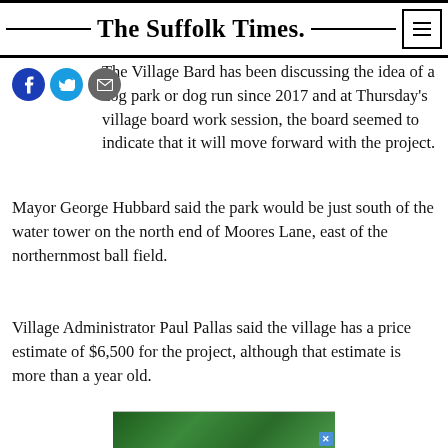The Suffolk Times.
The Village Board has been discussing the idea of a dog park or dog run since 2017 and at Thursday's village board work session, the board seemed to indicate that it will move forward with the project.
Mayor George Hubbard said the park would be just south of the water tower on the north end of Moores Lane, east of the northernmost ball field.
Village Administrator Paul Pallas said the village has a price estimate of $6,500 for the project, although that estimate is more than a year old.
[Figure (photo): Partial photo of green foliage/trees at bottom of page with advertisement X button]